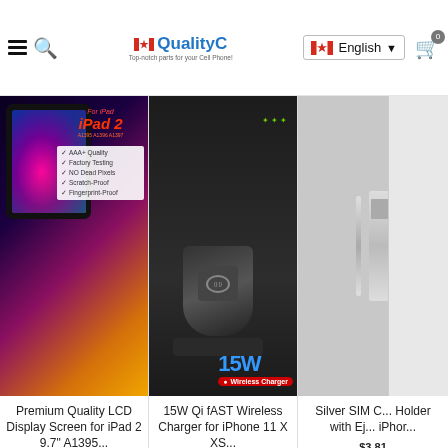[Figure (screenshot): E-commerce website header with hamburger menu, search icon, QualityC logo with Canadian flag, English language selector with Canadian flag, and shopping cart icon with 0 badge]
[Figure (screenshot): Product card: Premium Quality LCD Display Screen for iPad 2 9.7 A1395, showing iPad with colorful splash screen, features list (AAA+ Quality, Factory Testing, NO Dead Pixels, Scratch-Proof, Fingerprint-Proof)]
[Figure (screenshot): Product card: 15W Qi fAST Wireless Charger for iPhone 11 X XS, showing black wireless charger stand with 15W Wireless Charger label]
[Figure (screenshot): Product card: Silver SIM Card Holder with Ejector for iPhone (partially visible)]
Premium Quality LCD Display Screen for iPad 2 9.7" A1395...
15W Qi fAST Wireless Charger for iPhone 11 X XS...
Silver SIM C... Holder with Ej... iPhor...
$3.81
We use cookies to ensure that we give you the best experience on our website. For additional details, please read our Privacy Policy.
Privacy Policy
Accept
... people are viewing this item
USD
+ Add To Cart
+ Buy Now